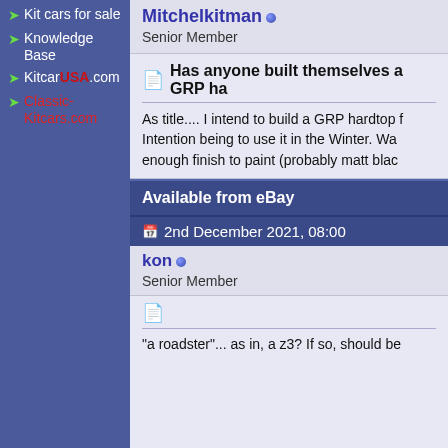Kit cars for sale
Knowledge Base
KitcarUSA.com
Classic-Kitcars.com
Mitchelkitman
Senior Member
Has anyone built themselves a GRP ha
As title.... I intend to build a GRP hardtop f Intention being to use it in the Winter. Wa enough finish to paint (probably matt blac
Available from eBay
2nd December 2021, 08:00
kon
Senior Member
"a roadster"... as in, a z3? If so, should be